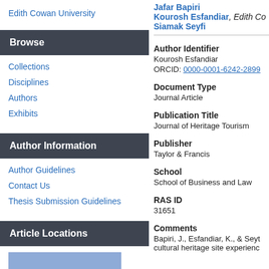Edith Cowan University
Browse
Collections
Disciplines
Authors
Exhibits
Author Information
Author Guidelines
Contact Us
Thesis Submission Guidelines
Article Locations
[Figure (other): Blue placeholder image for article location]
Jafar Bapiri
Kourosh Esfandiar, Edith Co...
Siamak Seyfi
Author Identifier
Kourosh Esfandiar
ORCID: 0000-0001-6242-2899
Document Type
Journal Article
Publication Title
Journal of Heritage Tourism
Publisher
Taylor & Francis
School
School of Business and Law
RAS ID
31651
Comments
Bapiri, J., Esfandiar, K., & Seyt... cultural heritage site experienc...